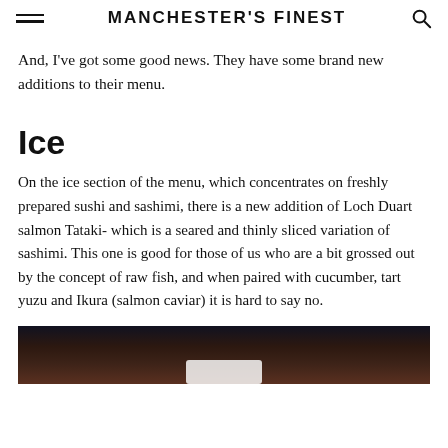MANCHESTER'S FINEST
And, I've got some good news. They have some brand new additions to their menu.
Ice
On the ice section of the menu, which concentrates on freshly prepared sushi and sashimi, there is a new addition of Loch Duart salmon Tataki- which is a seared and thinly sliced variation of sashimi. This one is good for those of us who are a bit grossed out by the concept of raw fish, and when paired with cucumber, tart yuzu and Ikura (salmon caviar) it is hard to say no.
[Figure (photo): Dark photo of a dish, partially visible at bottom of page]